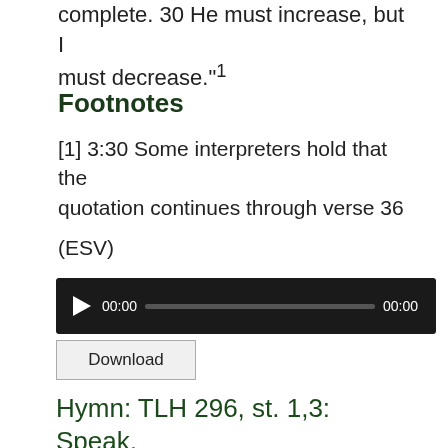complete. 30 He must increase, but I must decrease."¹
Footnotes
[1] 3:30 Some interpreters hold that the quotation continues through verse 36
(ESV)
[Figure (other): Audio player with play button, time display 00:00, progress bar, and 00:00 duration]
Download
Hymn: TLH 296, st. 1,3: Speak, O Lord, Thy Servant Heareth
Hymnary.org— Organ Audio
[Figure (other): Audio player with play button, time display 00:00, progress bar, and 00:00 duration]